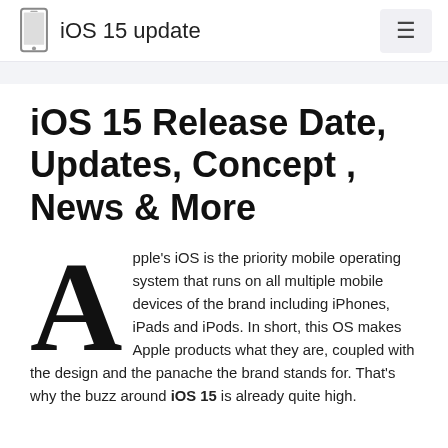iOS 15 update
iOS 15 Release Date, Updates, Concept , News & More
Apple's iOS is the priority mobile operating system that runs on all multiple mobile devices of the brand including iPhones, iPads and iPods. In short, this OS makes Apple products what they are, coupled with the design and the panache the brand stands for. That's why the buzz around iOS 15 is already quite high.